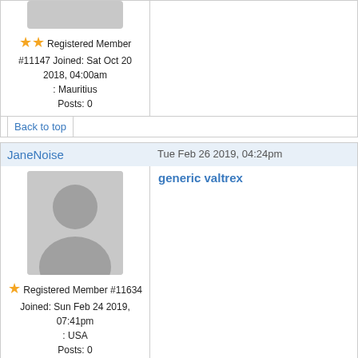[Figure (photo): Partial avatar image at top (cut off), gray placeholder silhouette]
⭐⭐ Registered Member #11147 Joined: Sat Oct 20 2018, 04:00am : Mauritius Posts: 0
Back to top
JaneNoise
Tue Feb 26 2019, 04:24pm
[Figure (photo): Gray silhouette avatar placeholder for JaneNoise]
⭐ Registered Member #11634 Joined: Sun Feb 24 2019, 07:41pm : USA Posts: 0
generic valtrex
Back to top
CharlesNoise
Sun Mar 03 2019, 09:14am
[Figure (photo): Partial gray silhouette avatar for CharlesNoise (cut off at bottom)]
PREDNISOLONE